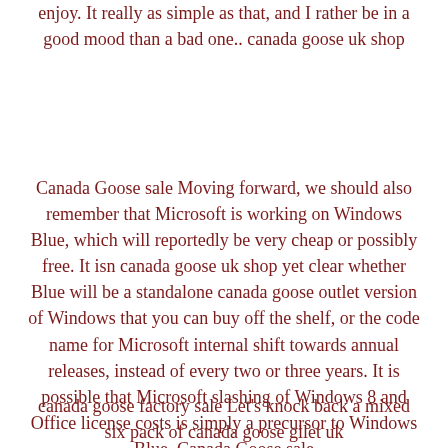enjoy. It really as simple as that, and I rather be in a good mood than a bad one.. canada goose uk shop
Canada Goose sale Moving forward, we should also remember that Microsoft is working on Windows Blue, which will reportedly be very cheap or possibly free. It isn canada goose uk shop yet clear whether Blue will be a standalone canada goose outlet version of Windows that you can buy off the shelf, or the code name for Microsoft internal shift towards annual releases, instead of every two or three years. It is possible that Microsoft slashing of Windows 8 and Office license costs is simply a precursor to Windows Blue. Canada Goose sale
canada goose factory sale Let's knock back a mixed six pack of canada goose gilet uk